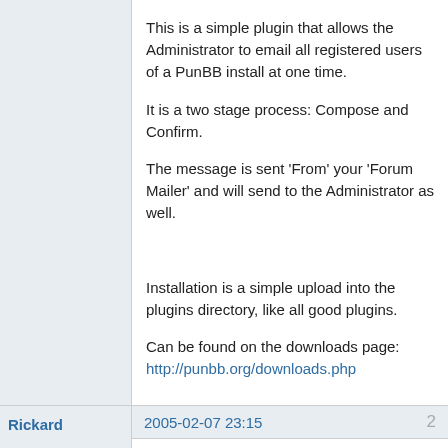This is a simple plugin that allows the Administrator to email all registered users of a PunBB install at one time.

It is a two stage process: Compose and Confirm.

The message is sent 'From' your 'Forum Mailer' and will send to the Administrator as well.

Installation is a simple upload into the plugins directory, like all good plugins.

Can be found on the downloads page:
http://punbb.org/downloads.php
Rickard
2005-02-07 23:15
2
Re: [Release] AP_Broadcast_Email 1.0
Excellent. This feature has been requested quite a few times. Nice to see it in the form of a plugin 🙂